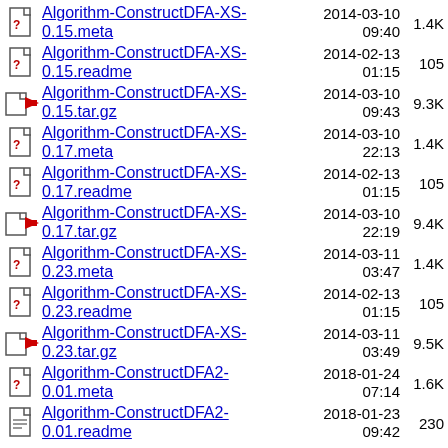Algorithm-ConstructDFA-XS-0.15.meta	2014-03-10 09:40	1.4K
Algorithm-ConstructDFA-XS-0.15.readme	2014-02-13 01:15	105
Algorithm-ConstructDFA-XS-0.15.tar.gz	2014-03-10 09:43	9.3K
Algorithm-ConstructDFA-XS-0.17.meta	2014-03-10 22:13	1.4K
Algorithm-ConstructDFA-XS-0.17.readme	2014-02-13 01:15	105
Algorithm-ConstructDFA-XS-0.17.tar.gz	2014-03-10 22:19	9.4K
Algorithm-ConstructDFA-XS-0.23.meta	2014-03-11 03:47	1.4K
Algorithm-ConstructDFA-XS-0.23.readme	2014-02-13 01:15	105
Algorithm-ConstructDFA-XS-0.23.tar.gz	2014-03-11 03:49	9.5K
Algorithm-ConstructDFA2-0.01.meta	2018-01-24 07:14	1.6K
Algorithm-ConstructDFA2-0.01.readme	2018-01-23 09:42	230
Algorithm-ConstructDFA2-	2018-01-24